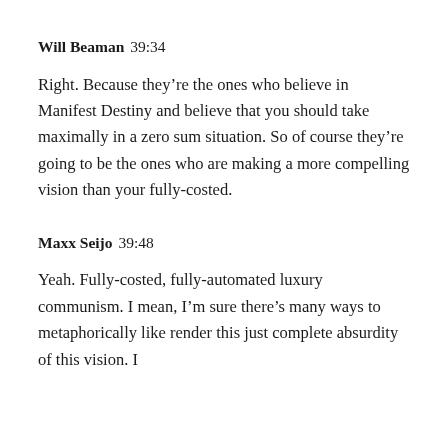Will Beaman  39:34
Right. Because they’re the ones who believe in Manifest Destiny and believe that you should take maximally in a zero sum situation. So of course they’re going to be the ones who are making a more compelling vision than your fully-costed.
Maxx Seijo  39:48
Yeah. Fully-costed, fully-automated luxury communism. I mean, I’m sure there’s many ways to metaphorically like render this just complete absurdity of this vision. I